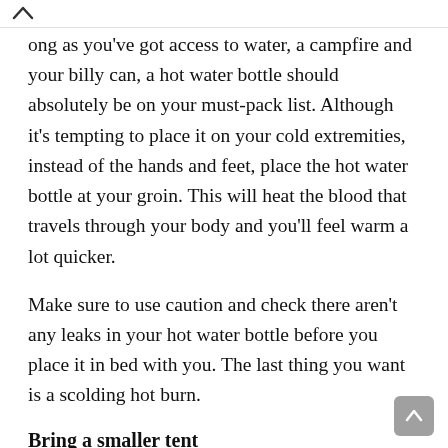ong as you've got access to water, a campfire and your billy can, a hot water bottle should absolutely be on your must-pack list. Although it's tempting to place it on your cold extremities, instead of the hands and feet, place the hot water bottle at your groin. This will heat the blood that travels through your body and you'll feel warm a lot quicker.
Make sure to use caution and check there aren't any leaks in your hot water bottle before you place it in bed with you. The last thing you want is a scolding hot burn.
Bring a smaller tent
A s t oo ti on it i t b i